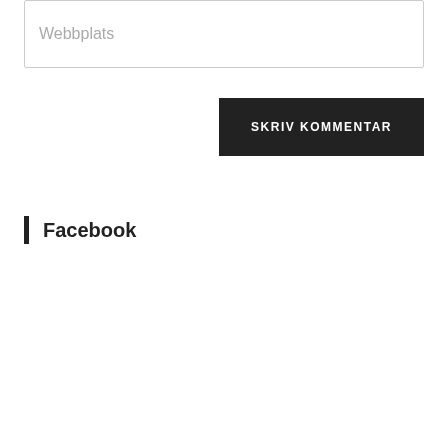Webbplats
SKRIV KOMMENTAR
Facebook